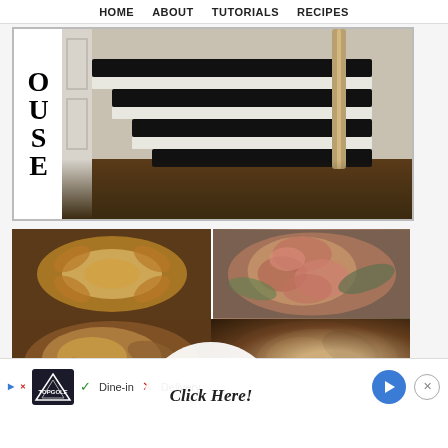HOME   ABOUT   TUTORIALS   RECIPES
[Figure (photo): Staircase with black and dark treads and white risers in an elegant interior, with letters O U S E on the left side]
[Figure (photo): Collage of stained wood projects featuring carved flowers and painted/stained floral designs, with a circular overlay button reading 'Click Here! for more stained projects']
[Figure (infographic): Advertisement bar with TopGolf logo, checkmark Dine-in, X Delivery, navigation arrow, and close button]